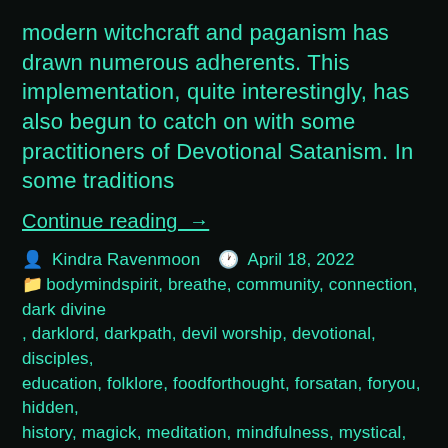modern witchcraft and paganism has drawn numerous adherents. This implementation, quite interestingly, has also begun to catch on with some practitioners of Devotional Satanism. In some traditions
Continue reading  →
👤 Kindra Ravenmoon   🕐 April 18, 2022
📁 bodymindspirit, breathe, community, connection, dark divine, darklord, darkpath, devil worship, devotional, disciples, education, folklore, foodforthought, forsatan, foryou, hidden, history, magick, meditation, mindfulness, mystical, occult history, Pagan, practice, private, religion, religious history, ritual, ritual, sacred, satan, satanic, satanic prayer, satanic pride, satanic words, satanicwitch, satanism, satanism today, secrecy, secret, shrouding, spiritual beings, spirituality, thedevil, theistic satanism, Uncategorized, veiling, warlock, witches
🏷 advice, ancient, bodymindspirit, community, connection,